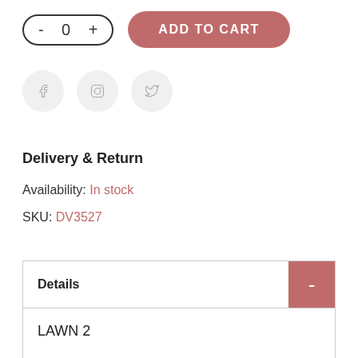[Figure (screenshot): Quantity selector control showing minus button, 0 count, and plus button in a pill-shaped border, next to a rose-red 'ADD TO CART' pill button]
[Figure (infographic): Three circular social share/icon buttons with light gray backgrounds and gray icons]
Delivery & Return
Availability: In stock
SKU:  DV3527
| Details | - |
| --- | --- |
| LAWN 2 |  |
| This collection features beautiful Australian wild |  |
LAWN 2
This collection features beautiful Australian wild